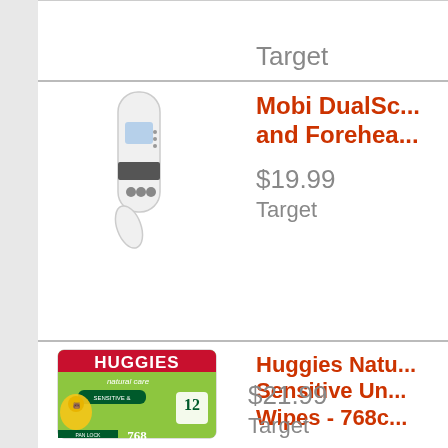Target
[Figure (photo): Mobi DualScan ear and forehead thermometer - white handheld device with digital display]
Mobi DualScan and Forehead...
$19.99
Target
[Figure (photo): Huggies Natural Care Sensitive Unscented Baby Wipes box - 768 count, 12 packs]
Huggies Natural Care Sensitive Unscented Wipes - 768ct
$21.99
Target